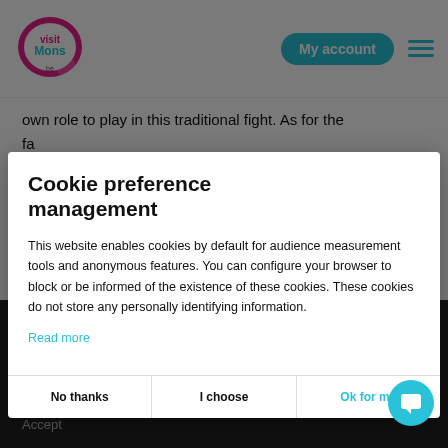[Figure (screenshot): Visit Mons website logo - colorful circular logo with 'visit Mons' text]
[Figure (screenshot): Navigation bar with 'My account' cyan button and hamburger menu icon]
own role to play in this traditional fight. As for the fa...ld up...ne ta...
Th...ge ar...a cl...on. By...es fro...tic
[Figure (screenshot): Cookie preference management modal dialog overlay]
Cookie preference management
This website enables cookies by default for audience measurement tools and anonymous features. You can configure your browser to block or be informed of the existence of these cookies. These cookies do not store any personally identifying information.
Read more
No thanks
I choose
Ok for me
By co... use d... acco...
and, each armed with a cow bladder, they m...
disorientate Saint George. But the Chin Chins d...
More
Accept
fulfil their duty as protectors: far from it! Everyone tries